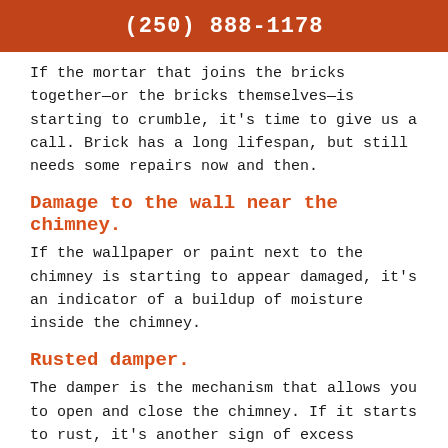(250) 888-1178
If the mortar that joins the bricks together—or the bricks themselves—is starting to crumble, it's time to give us a call. Brick has a long lifespan, but still needs some repairs now and then.
Damage to the wall near the chimney.
If the wallpaper or paint next to the chimney is starting to appear damaged, it's an indicator of a buildup of moisture inside the chimney.
Rusted damper.
The damper is the mechanism that allows you to open and close the chimney. If it starts to rust, it's another sign of excess moisture. Moisture can create cracks,